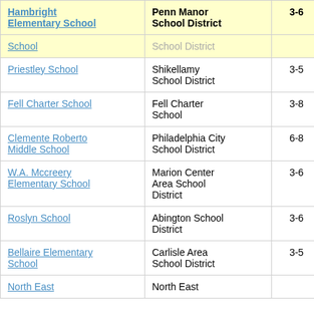| School | District | Grades | Value |
| --- | --- | --- | --- |
| Hambright Elementary School | Penn Manor School District | 3-6 | 0. |
| School | School District |  |  |
| Priestley School | Shikellamy School District | 3-5 | 2. |
| Fell Charter School | Fell Charter School | 3-8 | 3. |
| Clemente Roberto Middle School | Philadelphia City School District | 6-8 | 4. |
| W.A. Mccreery Elementary School | Marion Center Area School District | 3-6 | 1. |
| Roslyn School | Abington School District | 3-6 | 1. |
| Bellaire Elementary School | Carlisle Area School District | 3-5 | 2. |
| North East | North East |  |  |